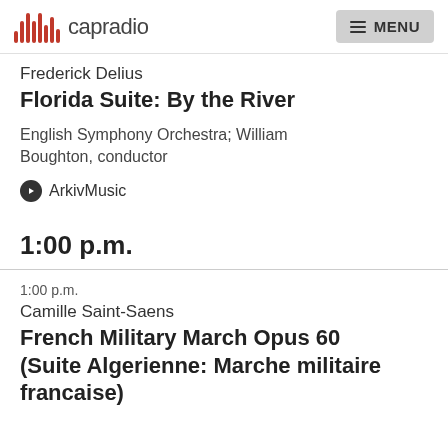capradio  MENU
Frederick Delius
Florida Suite: By the River
English Symphony Orchestra; William Boughton, conductor
ArkivMusic
1:00 p.m.
1:00 p.m.
Camille Saint-Saens
French Military March Opus 60 (Suite Algerienne: Marche militaire francaise)